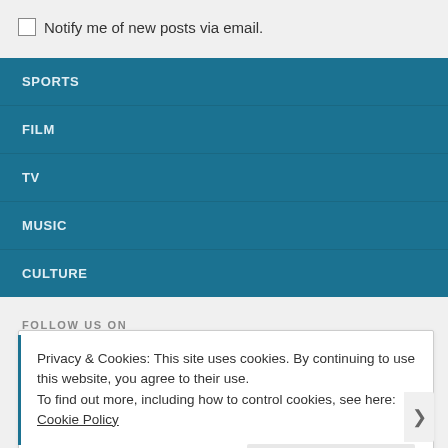Notify me of new posts via email.
SPORTS
FILM
TV
MUSIC
CULTURE
FOLLOW US ON
Privacy & Cookies: This site uses cookies. By continuing to use this website, you agree to their use.
To find out more, including how to control cookies, see here: Cookie Policy
Close and accept